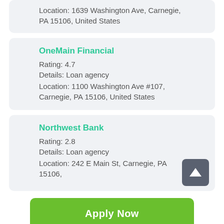Location: 1639 Washington Ave, Carnegie, PA 15106, United States
OneMain Financial
Rating: 4.7
Details: Loan agency
Location: 1100 Washington Ave #107, Carnegie, PA 15106, United States
Northwest Bank
Rating: 2.8
Details: Loan agency
Location: 242 E Main St, Carnegie, PA 15106,
Apply Now
Applying does NOT affect your credit score!
No credit check to apply.